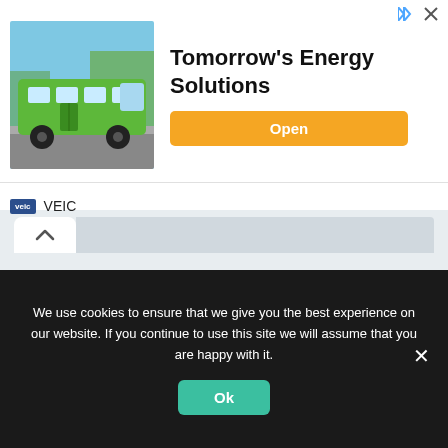[Figure (illustration): Advertisement banner showing a green electric bus on a road with trees in background, with VEIC logo and 'Tomorrow's Energy Solutions' headline and orange Open button]
Website
[Figure (screenshot): Website input text field (empty)]
Save my name, email, and website in this browser for the next time I comment.
Submit Comment
We use cookies to ensure that we give you the best experience on our website. If you continue to use this site we will assume that you are happy with it.